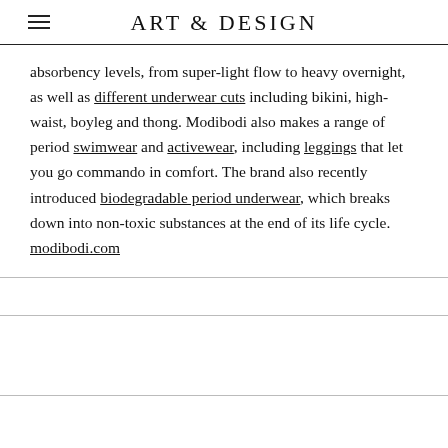ART & DESIGN
absorbency levels, from super-light flow to heavy overnight, as well as different underwear cuts including bikini, high-waist, boyleg and thong. Modibodi also makes a range of period swimwear and activewear, including leggings that let you go commando in comfort. The brand also recently introduced biodegradable period underwear, which breaks down into non-toxic substances at the end of its life cycle. modibodi.com